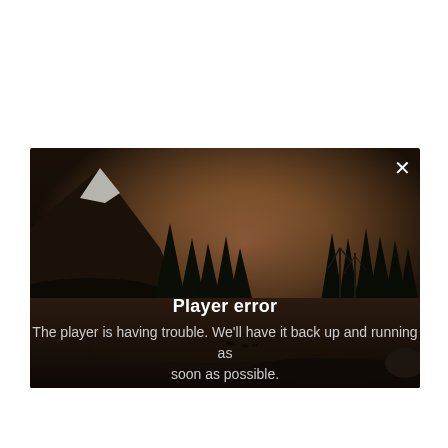[Figure (screenshot): A video player showing a dark outdoor scene with a snow-capped mountain on the left, dark conifer trees silhouetted against a warm amber/orange twilight sky, and a dark foreground of frozen ground or river. A white X close button is in the top-right corner of the player. An error overlay shows 'Player error' in bold white text and a message in lighter grey text below.]
Player error
The player is having trouble. We'll have it back up and running as soon as possible.